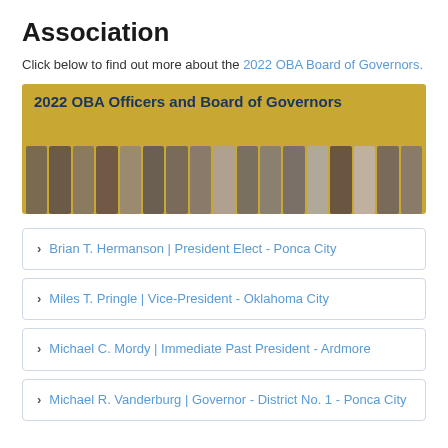Association
Click below to find out more about the 2022 OBA Board of Governors.
[Figure (photo): Banner image showing '2022 OBA Officers and Board of Governors' with group photos of officers and board members on a gold background]
Brian T. Hermanson | President Elect - Ponca City
Miles T. Pringle | Vice-President - Oklahoma City
Michael C. Mordy | Immediate Past President - Ardmore
Michael R. Vanderburg | Governor - District No. 1 - Ponca City